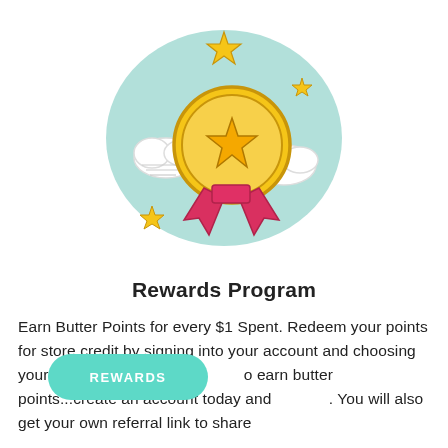[Figure (illustration): A rewards illustration showing a gold medal/coin with a star on it, red ribbon below, white clouds on either side, yellow stars scattered around, all on a teal/mint cloud-shaped background.]
Rewards Program
Earn Butter Points for every $1 Spent. Redeem your points for store credit by signing into your account and choosing your reward! There are ways to earn butter points...create an account today and shop! You will also get your own referral link to share